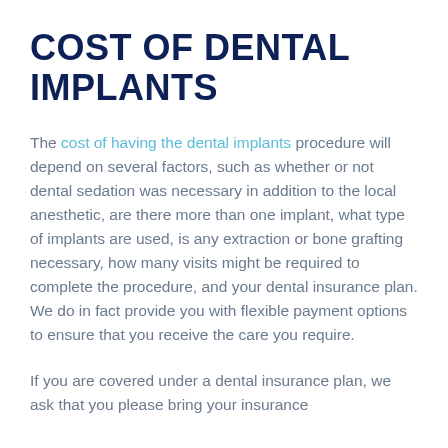COST OF DENTAL IMPLANTS
The cost of having the dental implants procedure will depend on several factors, such as whether or not dental sedation was necessary in addition to the local anesthetic, are there more than one implant, what type of implants are used, is any extraction or bone grafting necessary, how many visits might be required to complete the procedure, and your dental insurance plan. We do in fact provide you with flexible payment options to ensure that you receive the care you require.
If you are covered under a dental insurance plan, we ask that you please bring your insurance